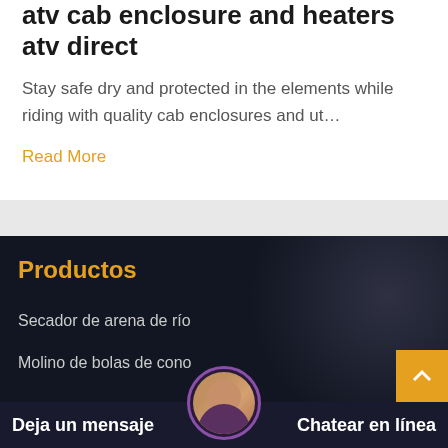atv cab enclosure and heaters atv direct
Stay safe dry and protected in the elements while riding with quality cab enclosures and ut…
Read More
Productos
Secador de arena de río
Molino de bolas de cono
Deja un mensaje
Chatear en línea